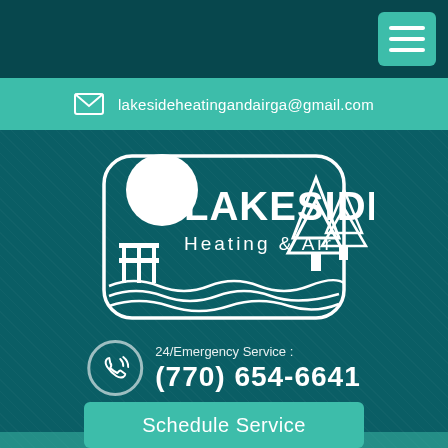[Figure (logo): Lakeside Heating & Air company logo — white outline badge with circle/moon, pine trees, fence/dock, and water waves, with company name text]
lakesideheatingandairga@gmail.com
24/Emergency Service : (770) 654-6641
Schedule Service